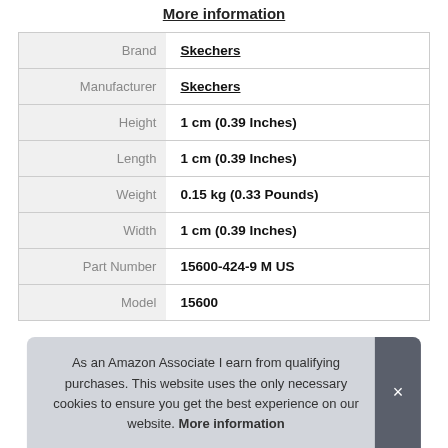More information
| Brand | Skechers |
| Manufacturer | Skechers |
| Height | 1 cm (0.39 Inches) |
| Length | 1 cm (0.39 Inches) |
| Weight | 0.15 kg (0.33 Pounds) |
| Width | 1 cm (0.39 Inches) |
| Part Number | 15600-424-9 M US |
| Model | 15600 |
As an Amazon Associate I earn from qualifying purchases. This website uses the only necessary cookies to ensure you get the best experience on our website. More information